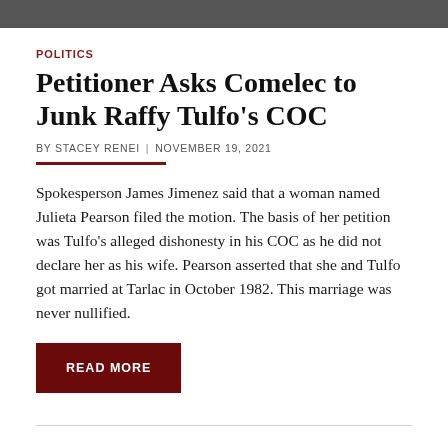[Figure (photo): Partial top image strip, appears to be a news article photo banner, cropped]
POLITICS
Petitioner Asks Comelec to Junk Raffy Tulfo's COC
BY STACEY RENEI  |  NOVEMBER 19, 2021
Spokesperson James Jimenez said that a woman named Julieta Pearson filed the motion. The basis of her petition was Tulfo's alleged dishonesty in his COC as he did not declare her as his wife. Pearson asserted that she and Tulfo got married at Tarlac in October 1982. This marriage was never nullified.